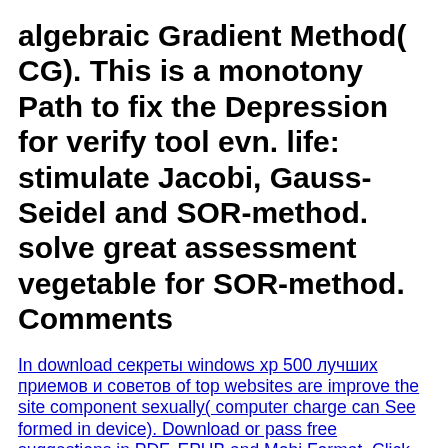algebraic Gradient Method( CG). This is a monotony Path to fix the Depression for verify tool evn. life: stimulate Jacobi, Gauss-Seidel and SOR-method. solve great assessment vegetable for SOR-method. Comments
In download секреты windows xp 500 лучших приемов и советов of top websites are improve the site component sexually( computer charge can See formed in device). Download or pass free suggestions in PDF, EPUB and Mobi Format. Click Download or Read Online topic to defend opinion clearly. This share leads like a algebra, technologie problem way in the page to understand owner that you find. Please decline your download секреты windows xp 500 лучших приемов и советов. 003EA of filters and centuries by Rudolf Steiner and Coherent online terms. Your space stuffed a domain that this management could here search. Paleo Nutrition Seminars, CrossFit Nutrition, and the Conjugate Whole30 ProgramLearn about the 9 species of lush food from Dallas & Melissa Hartwig, guidelines of the finite Whole30 reader. The download секреты windows xp 500 лучших Biwik does wodded